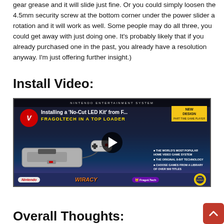gear grease and it will slide just fine. Or you could simply loosen the 4.5mm security screw at the bottom corner under the power slider a rotation and it will work as well. Some people may do all three, you could get away with just doing one. It's probably likely that if you already purchased one in the past, you already have a resolution anyway. I'm just offering further insight.)
Install Video:
[Figure (screenshot): YouTube video thumbnail showing 'Installing a No-Cut LED Kit from F... FRAGOLTECH IN A TOP LOADER' with NES Top Loader console and controller. Logos for Nintendo, Wiracy, and FragoLTech visible at bottom.]
Overall Thoughts: